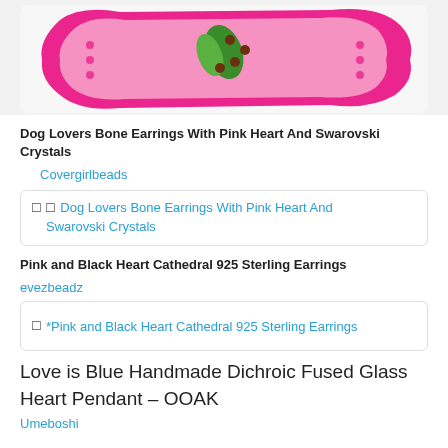[Figure (photo): Pink dog bone shaped earrings with heart and colorful dots on white background]
Dog Lovers Bone Earrings With Pink Heart And Swarovski Crystals
Covergirlbeads
[Figure (screenshot): Product image placeholder: Dog Lovers Bone Earrings With Pink Heart And Swarovski Crystals]
Pink and Black Heart Cathedral 925 Sterling Earrings
evezbeadz
[Figure (screenshot): Product image placeholder: *Pink and Black Heart Cathedral 925 Sterling Earrings]
Love is Blue Handmade Dichroic Fused Glass Heart Pendant – OOAK
Umeboshi